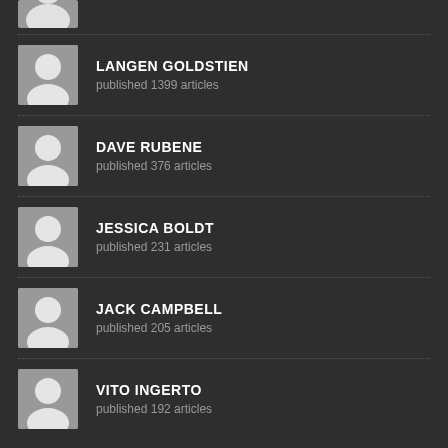LANGEN GOLDSTIEN — published 1399 articles
DAVE RUBENE — published 376 articles
JESSICA BOLDT — published 231 articles
JACK CAMPBELL — published 205 articles
VITO INGERTO — published 192 articles